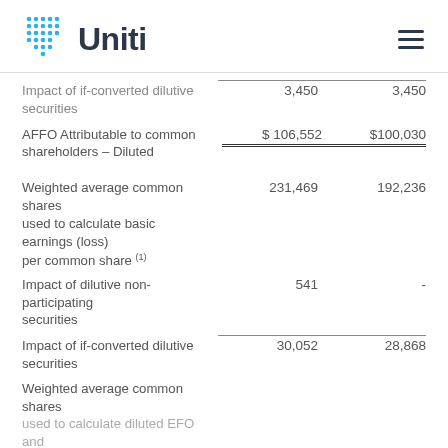Uniti
|  | Col1 | Col2 |
| --- | --- | --- |
| Impact of if-converted dilutive securities | 3,450 | 3,450 |
| AFFO Attributable to common shareholders – Diluted | $ 106,552 | $100,030 |
| Weighted average common shares used to calculate basic earnings (loss) per common share (1) | 231,469 | 192,236 |
| Impact of dilutive non-participating securities | 541 | - |
| Impact of if-converted dilutive securities | 30,052 | 28,868 |
| Weighted average common shares used to calculate diluted EFO and |  |  |